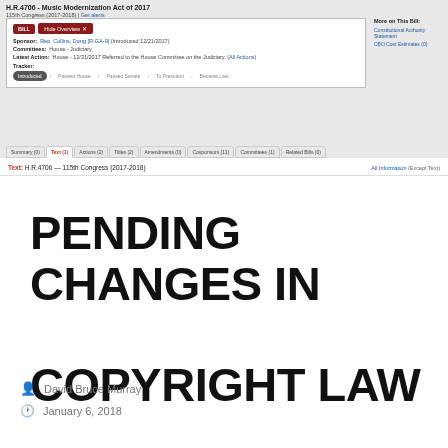[Figure (screenshot): Screenshot of Congress.gov page for H.R.4706 - Music Modernization Act of 2017, 115th Congress (2017-2018), showing bill overview with sponsor Rep. Collins, Doug [R-GA-9], introduced 12/21/2017, Committee: House - Judiciary, Latest Action: House - 12/21/2017 Referred to the House Committee on the Judiciary. Tracker shows Introduced stage active. Navigation tabs: Summary, Text (active), Actions, Titles, Amendments, Cosponsors, Committees, Related Bills.]
Text: H.R.4706 — 115th Congress (2017-2018)    All Information (Except Text)
PENDING CHANGES IN COPYRIGHT LAW
David Bruce Murray
January 6, 2018